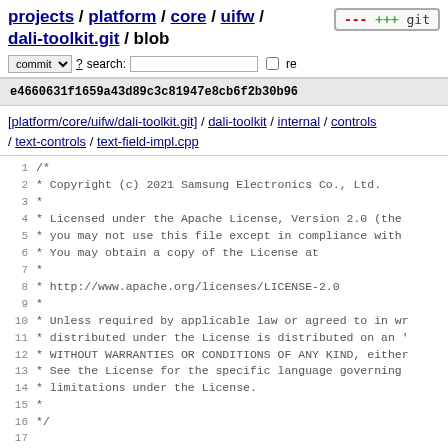projects / platform / core / uifw / dali-toolkit.git / blob
e4660631f1659a43d89c3c81947e8cb6f2b30b96
[platform/core/uifw/dali-toolkit.git] / dali-toolkit / internal / controls / text-controls / text-field-impl.cpp
1 /*
2  * Copyright (c) 2021 Samsung Electronics Co., Ltd.
3  *
4  * Licensed under the Apache License, Version 2.0 (the
5  * you may not use this file except in compliance with
6  * You may obtain a copy of the License at
7  *
8  * http://www.apache.org/licenses/LICENSE-2.0
9  *
10  * Unless required by applicable law or agreed to in wr
11  * distributed under the License is distributed on an '
12  * WITHOUT WARRANTIES OR CONDITIONS OF ANY KIND, either
13  * See the License for the specific language governing
14  * limitations under the License.
15  *
16  */
17
18 // CLASS HEADER
19 #include <dali-toolkit/internal/controls/text-controls/